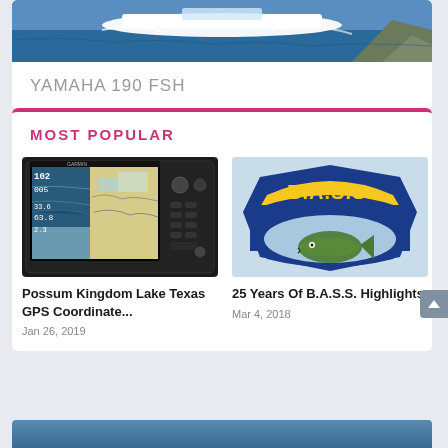[Figure (photo): Yamaha 190 FSH boat speeding on water with rocky coastline]
YAMAHA 190 FSH
MOST POPULAR
[Figure (photo): Garmin GPS fish finder device showing nautical chart and depth readings with 102, 005, 33.6, 63.8, 2.3 on screen]
Possum Kingdom Lake Texas GPS Coordinate...
Jan 26, 2019
[Figure (logo): B.A.S.S. fishing organization logo - badge shape with yellow lettering on blue background with bass fish illustration]
25 Years Of B.A.S.S. Highlights
Mar 4, 2018